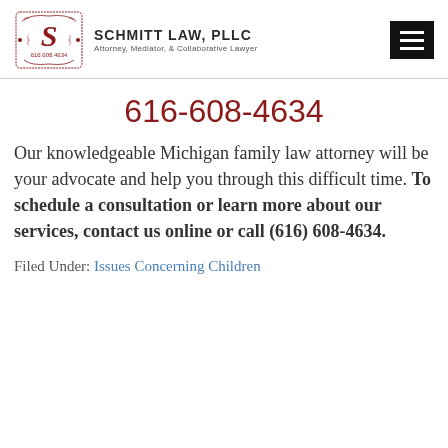[Figure (logo): Schmitt Law PLLC logo with ornate S emblem and phone number 616.608.4634, alongside firm name and tagline 'Attorney, Mediator, & Collaborative Lawyer', with hamburger menu icon]
616-608-4634
Our knowledgeable Michigan family law attorney will be your advocate and help you through this difficult time. To schedule a consultation or learn more about our services, contact us online or call (616) 608-4634.
Filed Under: Issues Concerning Children